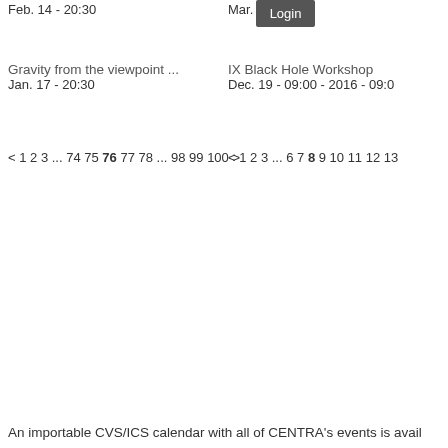Feb. 14 - 20:30
Mar. 25 - 09:00
Login
Gravity from the viewpoint ...
Jan. 17 - 20:30
IX Black Hole Workshop
Dec. 19 - 09:00 - 2016 - 09:0
< 1 2 3 ... 74 75 76 77 78 ... 98 99 100 >
< 1 2 3 ... 6 7 8 9 10 11 12 13
An importable CVS/ICS calendar with all of CENTRA's events is avail